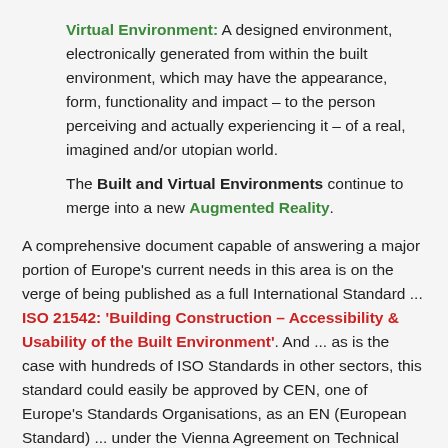Virtual Environment: A designed environment, electronically generated from within the built environment, which may have the appearance, form, functionality and impact – to the person perceiving and actually experiencing it – of a real, imagined and/or utopian world.
The Built and Virtual Environments continue to merge into a new Augmented Reality.
A comprehensive document capable of answering a major portion of Europe's current needs in this area is on the verge of being published as a full International Standard ... ISO 21542: 'Building Construction – Accessibility & Usability of the Built Environment'. And ... as is the case with hundreds of ISO Standards in other sectors, this standard could easily be approved by CEN, one of Europe's Standards Organisations, as an EN (European Standard) ... under the Vienna Agreement on Technical Co-Operation between ISO and CEN, which was confirmed by both organizations in 2001 ... and the period to practical